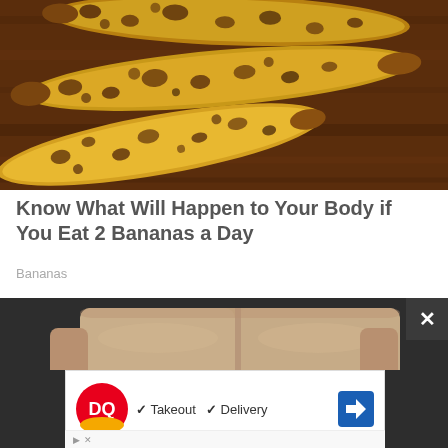[Figure (photo): Close-up photo of several overripe bananas with heavy brown spotting on yellow skin, resting on a dark wooden surface.]
Know What Will Happen to Your Body if You Eat 2 Bananas a Day
Bananas
[Figure (photo): Partial view of a tan/beige leather sofa or loveseat from above, against a dark background.]
[Figure (other): Dairy Queen (DQ) advertisement banner showing the DQ logo with text: Takeout, Delivery, and a blue navigation arrow icon.]